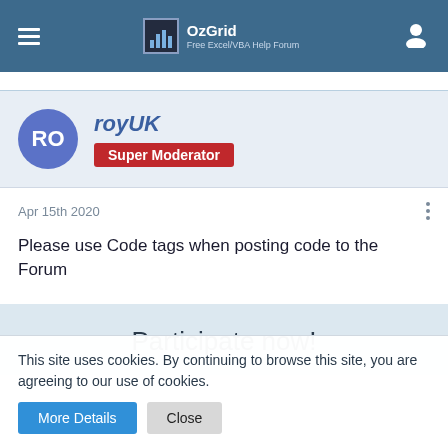OzGrid Free Excel/VBA Help Forum
royUK
Super Moderator
Apr 15th 2020
Please use Code tags when posting code to the Forum
Participate now!
This site uses cookies. By continuing to browse this site, you are agreeing to our use of cookies.